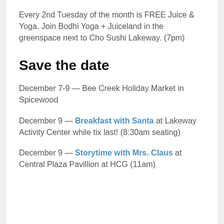Every 2nd Tuesday of the month is FREE Juice & Yoga. Join Bodhi Yoga + Juiceland in the greenspace next to Cho Sushi Lakeway. (7pm)
Save the date
December 7-9 — Bee Creek Holiday Market in Spicewood
December 9 — Breakfast with Santa at Lakeway Activity Center while tix last! (8:30am seating)
December 9 — Storytime with Mrs. Claus at Central Plaza Pavillion at HCG (11am)